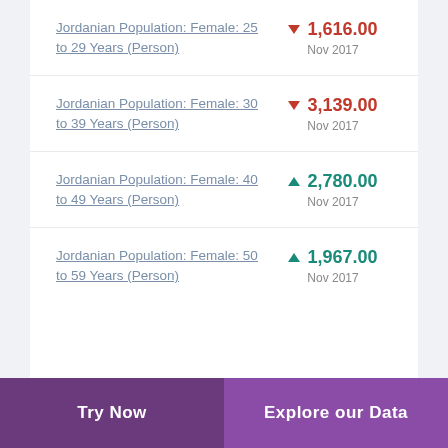Jordanian Population: Female: 25 to 29 Years (Person)
Jordanian Population: Female: 30 to 39 Years (Person)
Jordanian Population: Female: 40 to 49 Years (Person)
Jordanian Population: Female: 50 to 59 Years (Person)
Try Now | Explore our Data